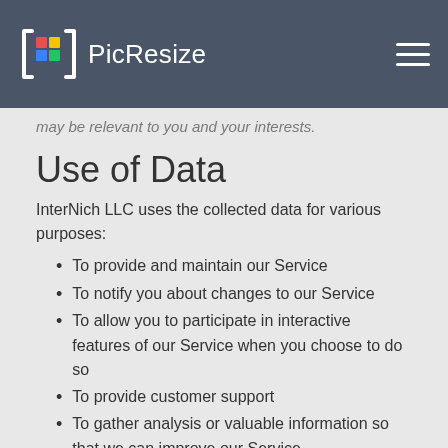PicResize
may be relevant to you and your interests.
Use of Data
InterNich LLC uses the collected data for various purposes:
To provide and maintain our Service
To notify you about changes to our Service
To allow you to participate in interactive features of our Service when you choose to do so
To provide customer support
To gather analysis or valuable information so that we can improve our Service
To monitor the usage of our Service
To detect, prevent and address technical